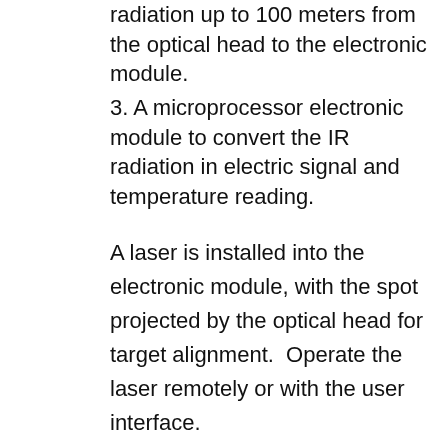radiation up to 100 meters from the optical head to the electronic module.
3. A microprocessor electronic module to convert the IR radiation in electric signal and temperature reading.
A laser is installed into the electronic module, with the spot projected by the optical head for target alignment.  Operate the laser remotely or with the user interface.
Integrated keypad and backlit 5